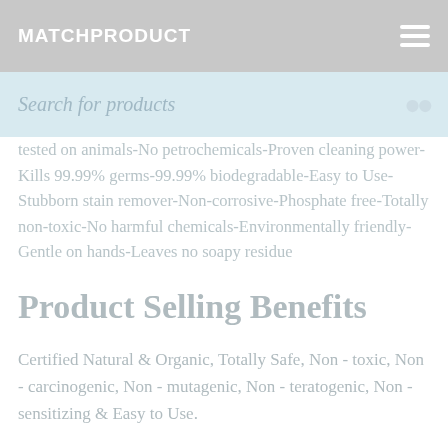MATCHPRODUCT
Search for products
tested on animals-No petrochemicals-Proven cleaning power-Kills 99.99% germs-99.99% biodegradable-Easy to Use-Stubborn stain remover-Non-corrosive-Phosphate free-Totally non-toxic-No harmful chemicals-Environmentally friendly-Gentle on hands-Leaves no soapy residue
Product Selling Benefits
Certified Natural & Organic, Totally Safe, Non - toxic, Non - carcinogenic, Non - mutagenic, Non - teratogenic, Non - sensitizing & Easy to Use.
Products Specs